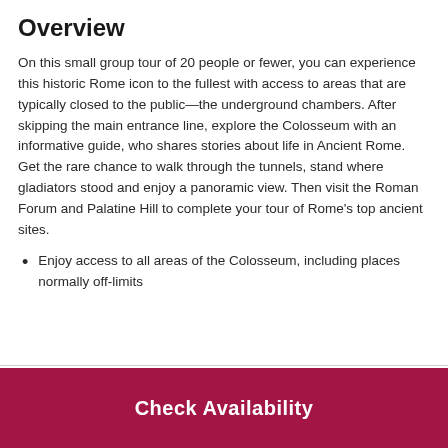Overview
On this small group tour of 20 people or fewer, you can experience this historic Rome icon to the fullest with access to areas that are typically closed to the public—the underground chambers. After skipping the main entrance line, explore the Colosseum with an informative guide, who shares stories about life in Ancient Rome. Get the rare chance to walk through the tunnels, stand where gladiators stood and enjoy a panoramic view. Then visit the Roman Forum and Palatine Hill to complete your tour of Rome's top ancient sites.
Enjoy access to all areas of the Colosseum, including places normally off-limits
[Figure (other): Red 'Check Availability' call-to-action button]